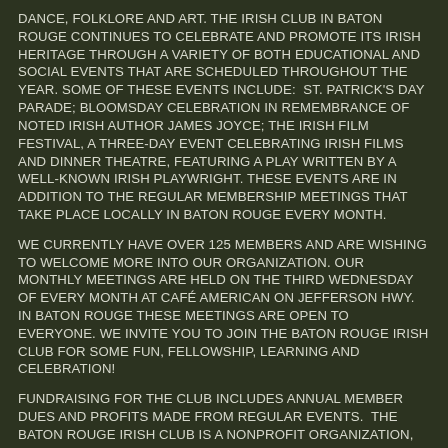DANCE, FOLKLORE AND ART. THE IRISH CLUB IN BATON ROUGE CONTINUES TO CELEBRATE AND PROMOTE ITS IRISH HERITAGE THROUGH A VARIETY OF BOTH EDUCATIONAL AND SOCIAL EVENTS THAT ARE SCHEDULED THROUGHOUT THE YEAR. SOME OF THESE EVENTS INCLUDE:  ST. PATRICK'S DAY PARADE; BLOOMSDAY CELEBRATION IN REMEMBRANCE OF NOTED IRISH AUTHOR JAMES JOYCE; THE IRISH FILM FESTIVAL, A THREE-DAY EVENT CELEBRATING IRISH FILMS AND DINNER THEATRE, FEATURING A PLAY WRITTEN BY A WELL-KNOWN IRISH PLAYWRIGHT. THESE EVENTS ARE IN ADDITION TO THE REGULAR MEMBERSHIP MEETINGS THAT TAKE PLACE LOCALLY IN BATON ROUGE EVERY MONTH.
WE CURRENTLY HAVE OVER 125 MEMBERS AND ARE WISHING TO WELCOME MORE INTO OUR ORGANIZATION. OUR MONTHLY MEETINGS ARE HELD ON THE THIRD WEDNESDAY OF EVERY MONTH AT CAFÉ AMERICAN ON JEFFERSON HWY. IN BATON ROUGE THESE MEETINGS ARE OPEN TO EVERYONE. WE INVITE YOU TO JOIN THE BATON ROUGE IRISH CLUB FOR SOME FUN, FELLOWSHIP, LEARNING AND CELEBRATION!
FUNDRAISING FOR THE CLUB INCLUDES ANNUAL MEMBER DUES AND PROFITS MADE FROM REGULAR EVENTS.  THE BATON ROUGE IRISH CLUB IS A NONPROFIT ORGANIZATION,  #72-1287679.